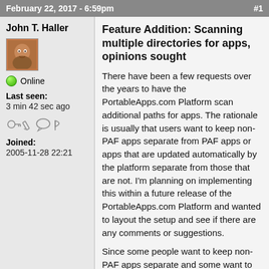February 22, 2017 - 6:59pm  #1
John T. Haller
[Figure (photo): Avatar photo of John T. Haller]
Online
Last seen:
3 min 42 sec ago
[Figure (illustration): Row of small forum user icons]
Joined:
2005-11-28 22:21
Feature Addition: Scanning multiple directories for apps, opinions sought
There have been a few requests over the years to have the PortableApps.com Platform scan additional paths for apps. The rationale is usually that users want to keep non-PAF apps separate from PAF apps or apps that are updated automatically by the platform separate from those that are not. I'm planning on implementing this within a future release of the PortableApps.com Platform and wanted to layout the setup and see if there are any comments or suggestions.

Since some people want to keep non-PAF apps separate and some want to keep officially separate, we at this...